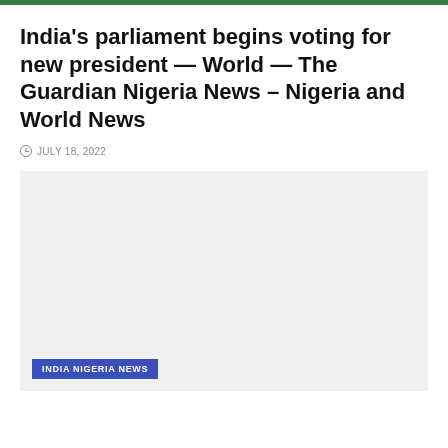India's parliament begins voting for new president — World — The Guardian Nigeria News – Nigeria and World News
JULY 18, 2022
[Figure (photo): Large image placeholder with light gray background. A tag label 'INDIA NIGERIA NEWS' in white text on blue background appears at bottom left.]